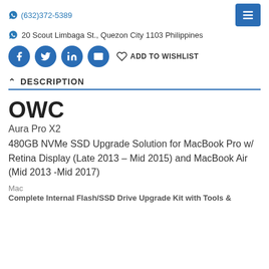(632)372-5389
20 Scout Limbaga St., Quezon City 1103 Philippines
ADD TO WISHLIST
DESCRIPTION
OWC
Aura Pro X2
480GB NVMe SSD Upgrade Solution for MacBook Pro w/ Retina Display (Late 2013 – Mid 2015) and MacBook Air (Mid 2013 -Mid 2017)
Mac
Complete Internal Flash/SSD Drive Upgrade Kit with Tools &